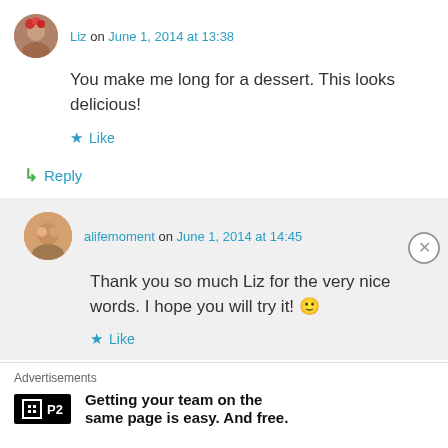Liz on June 1, 2014 at 13:38
You make me long for a dessert. This looks delicious!
Like
Reply
alifemoment on June 1, 2014 at 14:45
Thank you so much Liz for the very nice words. I hope you will try it! 🙂
Like
Advertisements
Getting your team on the same page is easy. And free.